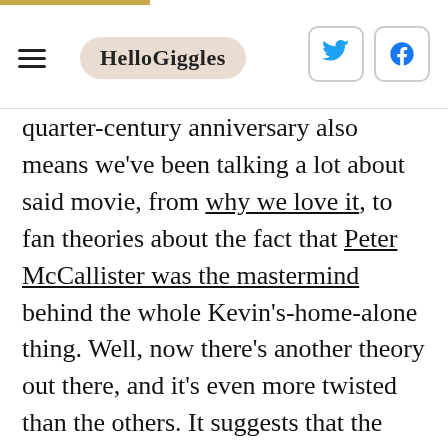HelloGiggles
quarter-century anniversary also means we've been talking a lot about said movie, from why we love it, to fan theories about the fact that Peter McCallister was the mastermind behind the whole Kevin's-home-alone thing. Well, now there's another theory out there, and it's even more twisted than the others. It suggests that the devil himself played a part in the movie.